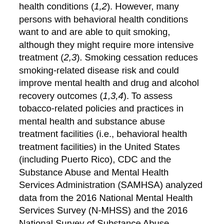health conditions (1,2). However, many persons with behavioral health conditions want to and are able to quit smoking, although they might require more intensive treatment (2,3). Smoking cessation reduces smoking-related disease risk and could improve mental health and drug and alcohol recovery outcomes (1,3,4). To assess tobacco-related policies and practices in mental health and substance abuse treatment facilities (i.e., behavioral health treatment facilities) in the United States (including Puerto Rico), CDC and the Substance Abuse and Mental Health Services Administration (SAMHSA) analyzed data from the 2016 National Mental Health Services Survey (N-MHSS) and the 2016 National Survey of Substance Abuse Treatment Services (N-SSATS). In 2016, among mental health treatment facilities, 48.9% reported screening patients for tobacco use, 37.6% offered tobacco cessation counseling, 25.2% offered nicotine replacement therapy (NRT), 21.5% offered non-nicotine tobacco cessation medications, and 48.6% prohibited